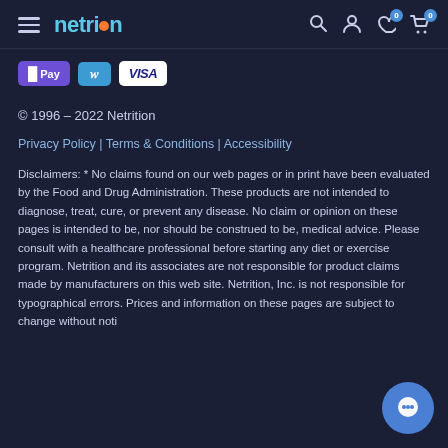netrition — navigation header with hamburger menu, logo, search, account, wishlist (0), cart (0)
[Figure (other): Payment method logos: Apple Pay (purple), Venmo (blue), Visa (white)]
© 1996 – 2022 Netrition
Privacy Policy | Terms & Conditions | Accessibility
Disclaimers: * No claims found on our web pages or in print have been evaluated by the Food and Drug Administration. These products are not intended to diagnose, treat, cure, or prevent any disease. No claim or opinion on these pages is intended to be, nor should be construed to be, medical advice. Please consult with a healthcare professional before starting any diet or exercise program. Netrition and its associates are not responsible for product claims made by manufacturers on this web site. Netrition, Inc. is not responsible for typographical errors. Prices and information on these pages are subject to change without notice.